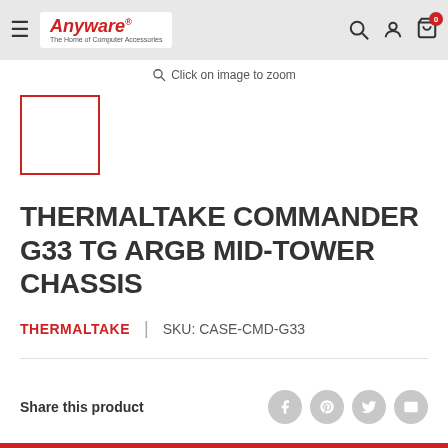Anyware - The Home of Computer Accessories
Click on image to zoom
[Figure (other): Product thumbnail placeholder box with red border]
THERMALTAKE COMMANDER G33 TG ARGB MID-TOWER CHASSIS
THERMALTAKE  |  SKU: CASE-CMD-G33
Share this product